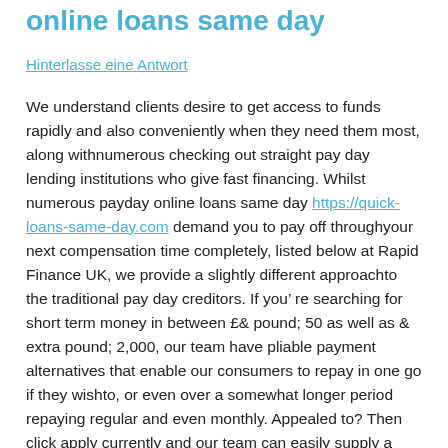online loans same day
Hinterlasse eine Antwort
We understand clients desire to get access to funds rapidly and also conveniently when they need them most, along withnumerous checking out straight pay day lending institutions who give fast financing. Whilst numerous payday online loans same day https://quick-loans-same-day.com demand you to pay off throughyour next compensation time completely, listed below at Rapid Finance UK, we provide a slightly different approachto the traditional pay day creditors. If you’ re searching for short term money in between £& pound; 50 as well as & extra pound; 2,000, our team have pliable payment alternatives that enable our consumers to repay in one go if they wishto, or even over a somewhat longer period repaying regular and even monthly. Appealed to? Then click apply currently and our team can easily supply a simple choice on a payday loan alternative that delivers a simple choice on a payday loan alternative that delivers